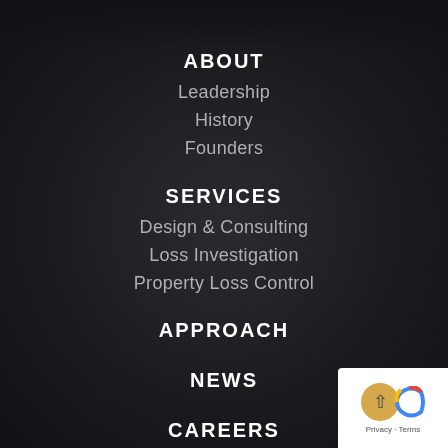ABOUT
Leadership
History
Founders
SERVICES
Design & Consulting
Loss Investigation
Property Loss Control
APPROACH
NEWS
CAREERS